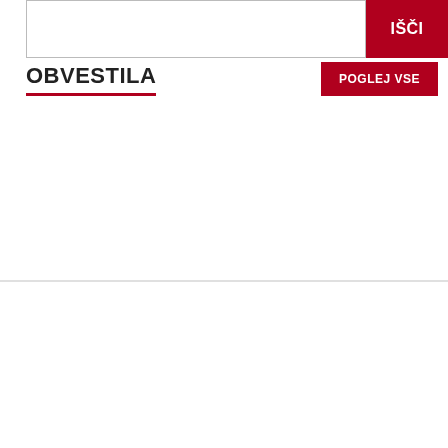[Figure (screenshot): Search bar with red IŠČI (search) button on the right]
OBVESTILA
[Figure (screenshot): POGLEJ VSE red button on the right side]
[Figure (screenshot): Bottom section with a gray button and a green button side by side]